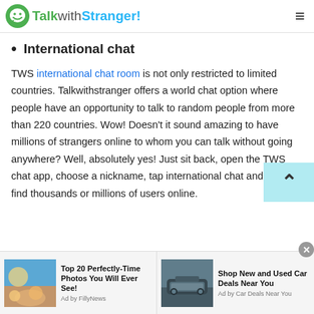TalkwithStranger!
International chat
TWS international chat room is not only restricted to limited countries. Talkwithstranger offers a world chat option where people have an opportunity to talk to random people from more than 220 countries. Wow! Doesn't it sound amazing to have millions of strangers online to whom you can talk without going anywhere? Well, absolutely yes! Just sit back, open the TWS chat app, choose a nickname, tap international chat and you will find thousands or millions of users online.
[Figure (screenshot): Ad banner: Top 20 Perfectly-Time Photos You Will Ever See! Ad by FillyNews, with beach photo thumbnail]
[Figure (screenshot): Ad banner: Shop New and Used Car Deals Near You. Ad by Car Deals Near You, with SUV car thumbnail]